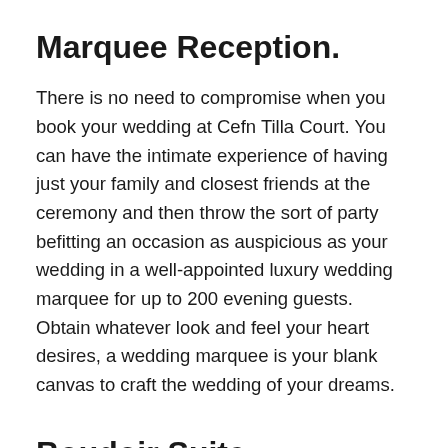Marquee Reception.
There is no need to compromise when you book your wedding at Cefn Tilla Court. You can have the intimate experience of having just your family and closest friends at the ceremony and then throw the sort of party befitting an occasion as auspicious as your wedding in a well-appointed luxury wedding marquee for up to 200 evening guests. Obtain whatever look and feel your heart desires, a wedding marquee is your blank canvas to craft the wedding of your dreams.
Boudoir Suite.
Your wedding day is one of the most important